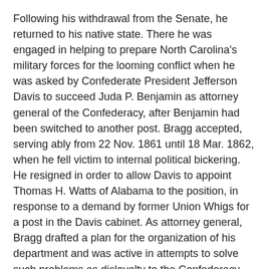Following his withdrawal from the Senate, he returned to his native state. There he was engaged in helping to prepare North Carolina's military forces for the looming conflict when he was asked by Confederate President Jefferson Davis to succeed Juda P. Benjamin as attorney general of the Confederacy, after Benjamin had been switched to another post. Bragg accepted, serving ably from 22 Nov. 1861 until 18 Mar. 1862, when he fell victim to internal political bickering. He resigned in order to allow Davis to appoint Thomas H. Watts of Alabama to the position, in response to a demand by former Union Whigs for a post in the Davis cabinet. As attorney general, Bragg drafted a plan for the organization of his department and was active in attempts to solve such problems as disloyalty to the Confederacy, the activities of Unionists within the South, the relations of the central government with the various Confederate states, treaties to be negotiated with the Indians, and the naturalization of aliens by the Confederacy.
Following his resignation from the cabinet, he moved to Petersburg, Va., the ancestral home of his wife, Isabelle Cuthbert Bragg, whom he had married in October of 1837. He lived there